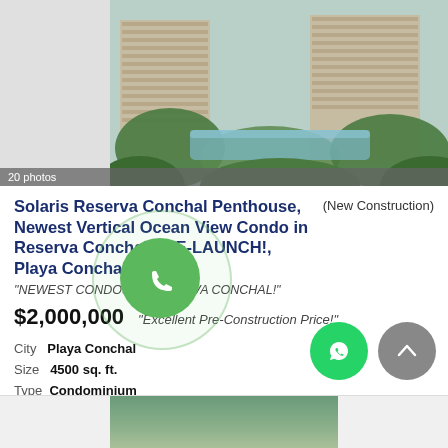[Figure (photo): Aerial/exterior rendering of Solaris Reserva Conchal penthouse condo building with lush greenery and pool area]
20 photos
Solaris Reserva Conchal Penthouse, Newest Vertical Ocean View Condo in Reserva Conchal PRE-LAUNCH!, Playa Conchal (New Construction)
"NEWEST CONDOS IN RESERVA CONCHAL!"
$2,000,000   "Excellent Pre-Construction Price!"
City   Playa Conchal
Size   4500 sq. ft.
Type   Condominium
Bedrooms   5
Bathrooms
Half Baths
Request More Info
[Figure (photo): Bottom partial photo of another property listing]